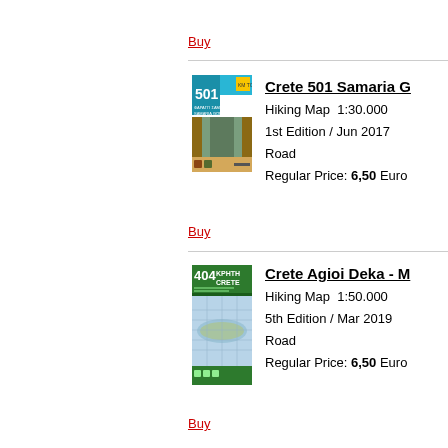Buy
[Figure (photo): Cover image of Crete 501 Samaria Gorge hiking map, showing canyon scenery]
Crete 501 Samaria G
Hiking Map  1:30.000
1st Edition / Jun 2017
Road
Regular Price: 6,50 Euro
Buy
[Figure (photo): Cover image of Crete 404 Agioi Deka hiking map with map of Crete island]
Crete Agioi Deka - M
Hiking Map  1:50.000
5th Edition / Mar 2019
Road
Regular Price: 6,50 Euro
Buy